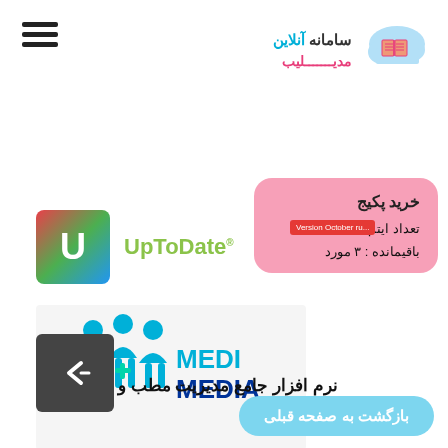[Figure (logo): Hamburger menu icon (three horizontal lines) on top left]
[Figure (logo): Online library management system logo with cloud and book icon, text in Persian: سامانه آنلاین مدیبسلیب]
خرید پکیج
تعداد ایتم قابل مشاهده
باقیمانده : ۳ مورد
[Figure (logo): UpToDate logo with colored U icon and green UpToDate text]
Version October ru...
[Figure (logo): MediMedia logo with blue human figures and MEDI MEDIA text]
نرم افزار جامع مدیریت مطب و
بازگشت به صفحه قبلی